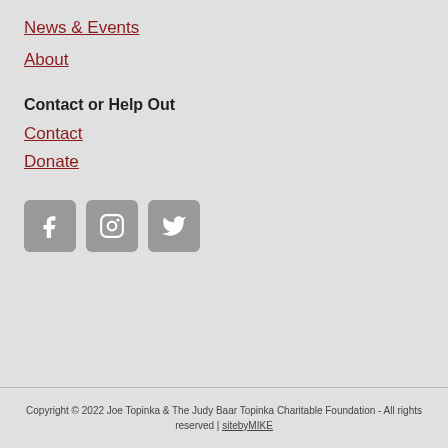News & Events
About
Contact or Help Out
Contact
Donate
[Figure (other): Three social media icon buttons: Facebook (f), Instagram (camera), and Twitter (bird) — gray rounded square buttons with white icons]
Copyright © 2022 Joe Topinka & The Judy Baar Topinka Charitable Foundation - All rights reserved | sitebyMIKE